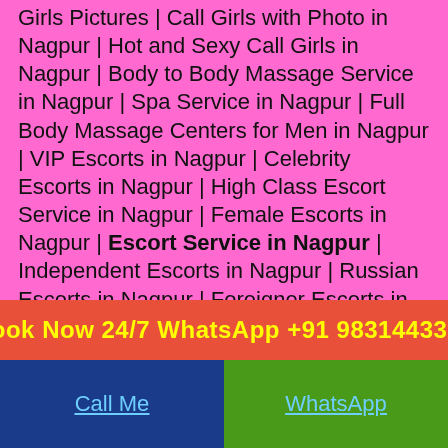Girls Pictures | Call Girls with Photo in Nagpur | Hot and Sexy Call Girls in Nagpur | Body to Body Massage Service in Nagpur | Spa Service in Nagpur | Full Body Massage Centers for Men in Nagpur | VIP Escorts in Nagpur | Celebrity Escorts in Nagpur | High Class Escort Service in Nagpur | Female Escorts in Nagpur | Escort Service in Nagpur | Independent Escorts in Nagpur | Russian Escorts in Nagpur | Foreigner Escorts in Nagpur | Air Hostess Escorts in Nagpur | House Wife Escorts in Nagpur | Model Escorts in Nagpur | High Profile Escorts in Nagpur |
Call our Nagpur escorts agency today for an unforgettable experience with an perfect escort.
Book Now 24/7 WhatsApp +91 9831443300
Call Me
WhatsApp